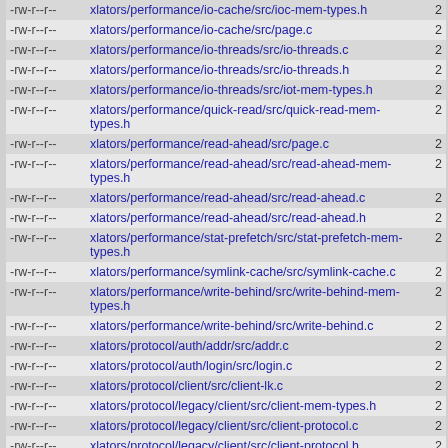| permissions | path | num |
| --- | --- | --- |
| -rw-r--r-- | xlators/performance/io-cache/src/ioc-mem-types.h | 2 |
| -rw-r--r-- | xlators/performance/io-cache/src/page.c | 2 |
| -rw-r--r-- | xlators/performance/io-threads/src/io-threads.c | 2 |
| -rw-r--r-- | xlators/performance/io-threads/src/io-threads.h | 2 |
| -rw-r--r-- | xlators/performance/io-threads/src/iot-mem-types.h | 2 |
| -rw-r--r-- | xlators/performance/quick-read/src/quick-read-mem-types.h | 2 |
| -rw-r--r-- | xlators/performance/read-ahead/src/page.c | 2 |
| -rw-r--r-- | xlators/performance/read-ahead/src/read-ahead-mem-types.h | 2 |
| -rw-r--r-- | xlators/performance/read-ahead/src/read-ahead.c | 2 |
| -rw-r--r-- | xlators/performance/read-ahead/src/read-ahead.h | 2 |
| -rw-r--r-- | xlators/performance/stat-prefetch/src/stat-prefetch-mem-types.h | 2 |
| -rw-r--r-- | xlators/performance/symlink-cache/src/symlink-cache.c | 2 |
| -rw-r--r-- | xlators/performance/write-behind/src/write-behind-mem-types.h | 2 |
| -rw-r--r-- | xlators/performance/write-behind/src/write-behind.c | 2 |
| -rw-r--r-- | xlators/protocol/auth/addr/src/addr.c | 2 |
| -rw-r--r-- | xlators/protocol/auth/login/src/login.c | 2 |
| -rw-r--r-- | xlators/protocol/client/src/client-lk.c | 2 |
| -rw-r--r-- | xlators/protocol/legacy/client/src/client-mem-types.h | 2 |
| -rw-r--r-- | xlators/protocol/legacy/client/src/client-protocol.c | 2 |
| -rw-r--r-- | xlators/protocol/legacy/client/src/client-protocol.h | 2 |